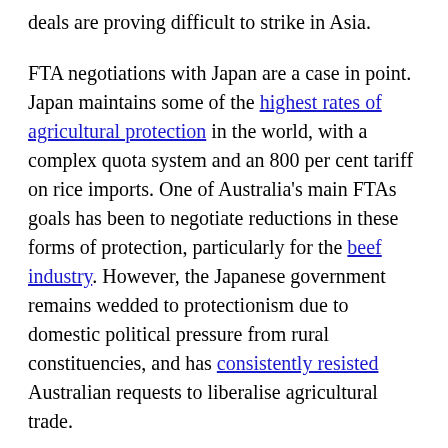deals are proving difficult to strike in Asia.
FTA negotiations with Japan are a case in point. Japan maintains some of the highest rates of agricultural protection in the world, with a complex quota system and an 800 per cent tariff on rice imports. One of Australia's main FTAs goals has been to negotiate reductions in these forms of protection, particularly for the beef industry. However, the Japanese government remains wedded to protectionism due to domestic political pressure from rural constituencies, and has consistently resisted Australian requests to liberalise agricultural trade.
Negotiations with South Korea have also proven difficult. Despite claims from (then Foreign Minister) Kevin Rudd in 2009 that the talks were "near to conclusion", the FTA remains incomplete in